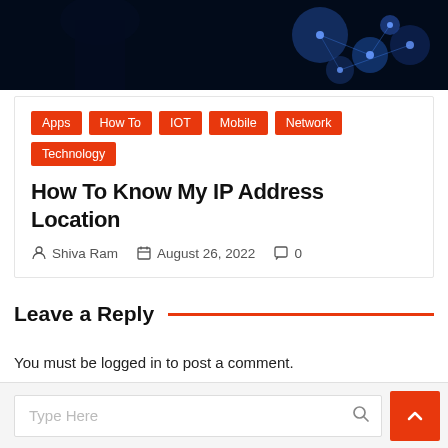[Figure (photo): Dark banner image with a silhouette of a person and blue glowing network/tech nodes on a dark background]
Apps
How To
IOT
Mobile
Network
Technology
How To Know My IP Address Location
Shiva Ram   August 26, 2022   0
Leave a Reply
You must be logged in to post a comment.